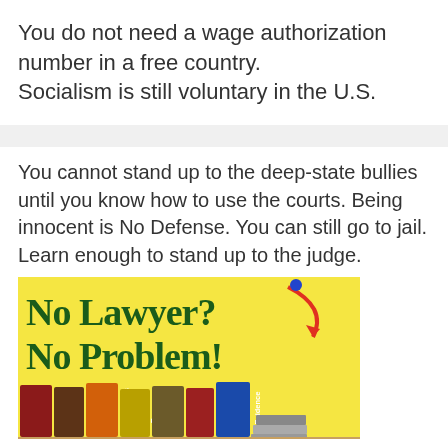You do not need a wage authorization number in a free country.
Socialism is still voluntary in the U.S.
You cannot stand up to the deep-state bullies until you know how to use the courts. Being innocent is No Defense. You can still go to jail. Learn enough to stand up to the judge.
[Figure (photo): Book cover or advertisement image reading 'No Lawyer? No Problem!' in dark green text on a yellow background, with a row of colorful law books labeled Motions, Witnesses, Court Rules, Forms, Objections, Tactics, Evidence, and a stack of grey books.]